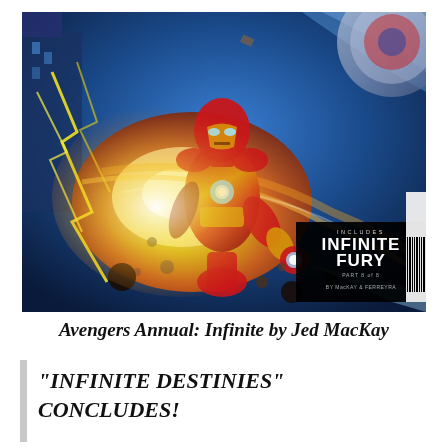[Figure (illustration): Comic book cover illustration showing Iron Man in red and gold armor flying forward with lightning energy effects, explosions, and debris. A black badge in the lower right reads 'INCLUDES INFINITE FURY PART 8 OF 8 BY MacKAY & FERREYRA'. A barcode strip is visible on the far right edge.]
Avengers Annual: Infinite by Jed MacKay
“INFINITE DESTINIES” CONCLUDES!